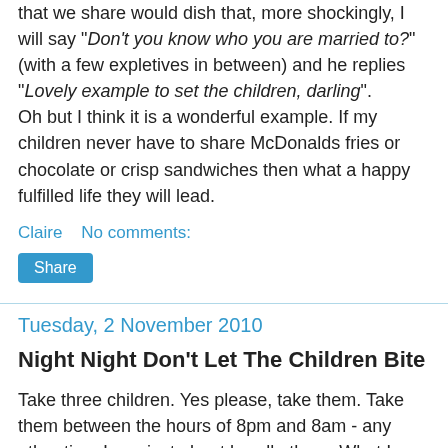that we share would dish that, more shockingly, I will say "Don't you know who you are married to?" (with a few expletives in between) and he replies "Lovely example to set the children, darling".
Oh but I think it is a wonderful example. If my children never have to share McDonalds fries or chocolate or crisp sandwiches then what a happy fulfilled life they will lead.
Claire   No comments:
Share
Tuesday, 2 November 2010
Night Night Don't Let The Children Bite
Take three children. Yes please, take them. Take them between the hours of 8pm and 8am - any other time I can just about handle them. What I can't handle is interrupted sleep and my children were born without snooze buttons. We are mainly having problems with The Toddler and, apparently, it's all my doing. I have created a monster. The sucky la la baby who loved his mummy is swiftly turning into